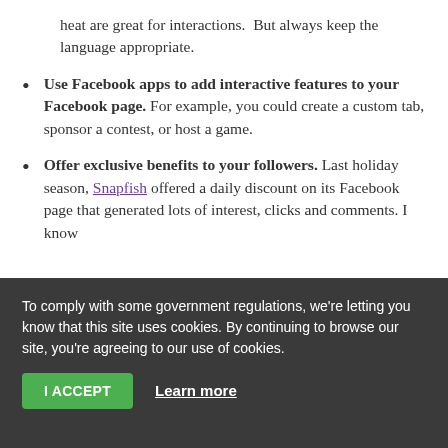heat are great for interactions.  But always keep the language appropriate.
Use Facebook apps to add interactive features to your Facebook page. For example, you could create a custom tab, sponsor a contest, or host a game.
Offer exclusive benefits to your followers. Last holiday season, Snapfish offered a daily discount on its Facebook page that generated lots of interest, clicks and comments. I know
To comply with some government regulations, we're letting you know that this site uses cookies. By continuing to browse our site, you're agreeing to our use of cookies.
I ACCEPT   Learn more